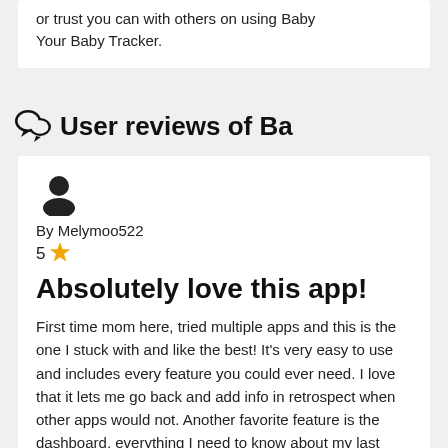or trust you can with others on using Baby Your Baby Tracker.
User reviews of Ba
By Melymoo522
5 ☆
Absolutely love this app!
First time mom here, tried multiple apps and this is the one I stuck with and like the best! It's very easy to use and includes every feature you could ever need. I love that it lets me go back and add info in retrospect when other apps would not. Another favorite feature is the dashboard, everything I need to know about my last feeding, last diaper change, etc. and how long it's been is displayed.